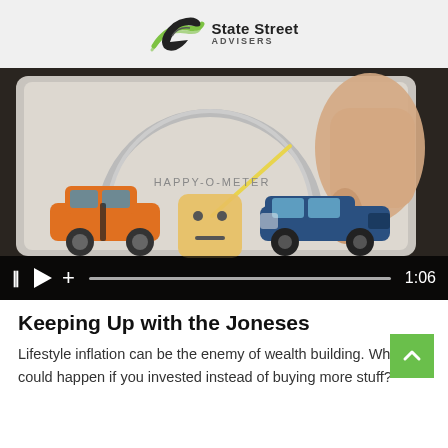State Street ADVISERS
[Figure (screenshot): Video thumbnail showing a tablet screen with a 'Happy-O-Meter' gauge, an orange sports car, a neutral-face emoji, and a blue car. A hand is touching the screen. Video player controls show pause, play, and a progress bar with timestamp 1:06.]
Keeping Up with the Joneses
Lifestyle inflation can be the enemy of wealth building. What could happen if you invested instead of buying more stuff?